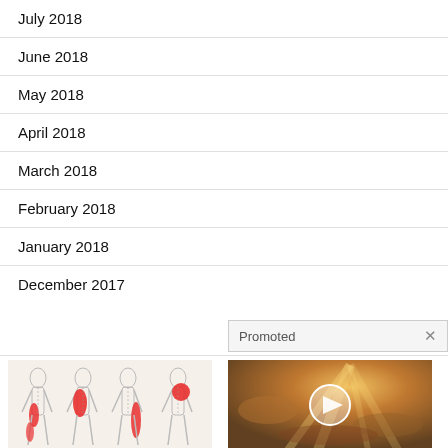July 2018
June 2018
May 2018
April 2018
March 2018
February 2018
January 2018
December 2017
Promoted ×
[Figure (illustration): Medical illustration showing sciatic nerve pain patterns on human body silhouettes]
Are You Struggling With Sciatic Nerve Pain?
🔥 4,401
[Figure (photo): Photo of sunlight breaking through clouds with play button overlay]
Everyone Who Believes In God Should Watch This. It Will Blow Your Mind
🔥 43,501